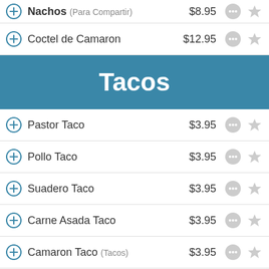Nachos (Para Compartir) $8.95
Coctel de Camaron $12.95
Tacos
Pastor Taco $3.95
Pollo Taco $3.95
Suadero Taco $3.95
Carne Asada Taco $3.95
Camaron Taco (Tacos) $3.95
Pescado Taco $3.95
Lengua Taco $3.95
Oreja Taco $3.95